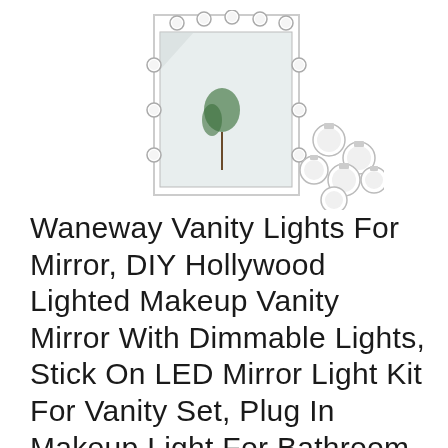[Figure (photo): Product photo of a Hollywood vanity mirror frame with round LED bulbs around the border, shown with several loose bulbs scattered in front of it on a white background.]
Waneway Vanity Lights For Mirror, DIY Hollywood Lighted Makeup Vanity Mirror With Dimmable Lights, Stick On LED Mirror Light Kit For Vanity Set, Plug In Makeup Light For Bathroom Wall